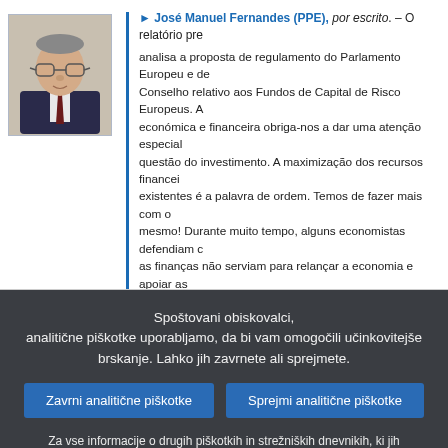[Figure (photo): Headshot photo of José Manuel Fernandes, a middle-aged man wearing glasses and a suit with tie, against a neutral background.]
José Manuel Fernandes (PPE), por escrito. – O relatório pre analisa a proposta de regulamento do Parlamento Europeu e de Conselho relativo aos Fundos de Capital de Risco Europeus. A económica e financeira obriga-nos a dar uma atenção especial questão do investimento. A maximização dos recursos financei existentes é a palavra de ordem. Temos de fazer mais com o mesmo! Durante muito tempo, alguns economistas defendiam c as finanças não serviam para relançar a economia e apoiar as empresas. Hoje, ninguém pensa assim. Temos de colocar as finanças ao serviço das pessoas em ordem à dinamização da economia, ao crescimento económico e à criação de emprego. cada uma das 22 milhões de pequenas e médias empresas europeias for apoiada na criação de um posto de trabalho, tere problema do desemprego na UE resolvido. Para isso, o capital risco é muito importante. Congratulo-me com o facto da UE pas dispor de um novo quadro legislativo – único em toda a Europa que vai facilitar a obtenção de dinheiro junto dos financiadores,
Spoštovani obiskovalci, analitične piškotke uporabljamo, da bi vam omogočili učinkovitejše brskanje. Lahko jih zavrnete ali sprejmete.
Zavrni analitične piškotke
Sprejmi analitične piškotke
Za vse informacije o drugih piškotkih in strežniških dnevnikih, ki jih uporabljamo, vas vabimo, da si preberete našo politiko varstva podatkov , našo politiko piškotkov in naš seznam piškotkov.